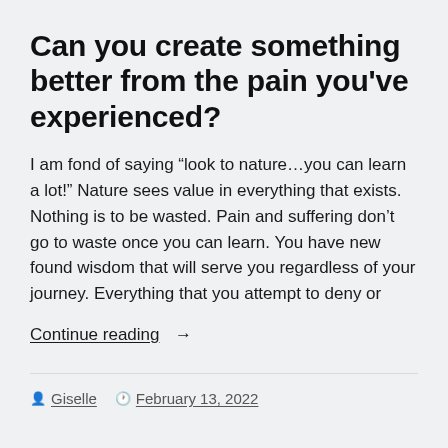Can you create something better from the pain you've experienced?
I am fond of saying “look to nature…you can learn a lot!” Nature sees value in everything that exists. Nothing is to be wasted. Pain and suffering don’t go to waste once you can learn. You have new found wisdom that will serve you regardless of your journey. Everything that you attempt to deny or
Continue reading  →
Giselle   February 13, 2022